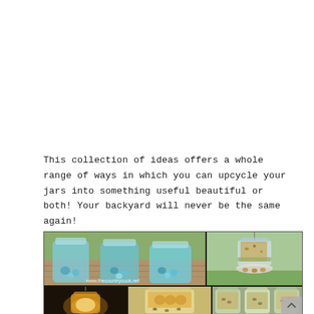This collection of ideas offers a whole range of ways in which you can upcycle your jars into something useful beautiful or both! Your backyard will never be the same again!
[Figure (photo): Photo collage of mason jar upcycling projects: top-left shows three blue Ball mason jars filled with decorative stones/marbles on a wooden surface with watermark www.thecountrycook.net; top-right shows an inverted mason jar bird feeder with seeds hanging from twine on a white base; bottom-left shows a glowing mason jar lantern; bottom-center shows mason jar with honeycomb and seeds; bottom-right shows mason jars with bird seed/dried goods.]